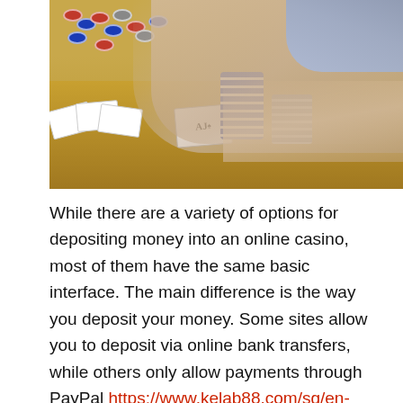[Figure (photo): A photo of hands over a casino table with playing cards (Ace and Jack of spades) and stacks of blue and silver poker chips on a yellow/gold felt surface. One hand wears a suit sleeve, the other wears a gold ring.]
While there are a variety of options for depositing money into an online casino, most of them have the same basic interface. The main difference is the way you deposit your money. Some sites allow you to deposit via online bank transfers, while others only allow payments through PayPal https://www.kelab88.com/sg/en-us/. Either way, you should ensure the